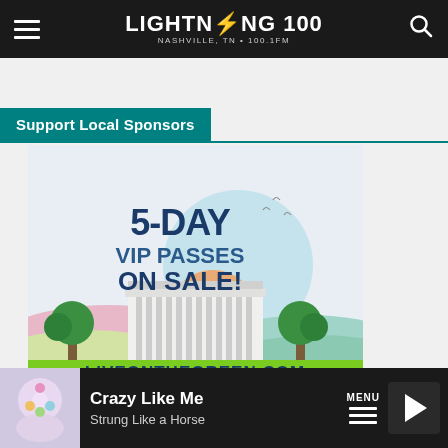Lightning 100 — Nashville, TN • 100.1FM
Support Local Sponsors
[Figure (illustration): Festival advertisement showing '5-DAY VIP PASSES ON SALE!' in large bold dark blue text on a light teal circular background. Below is a stylized illustration of a white columned building (resembling a courthouse or library) with colorful pastel rolling hills and a sunrise in background. Green trees flank the building. A bright green banner at the bottom reads 'LIVEONTHEGREEN.COM' in bold dark blue letters.]
Crazy Like Me — Strung Like a Horse | MENU | Play button